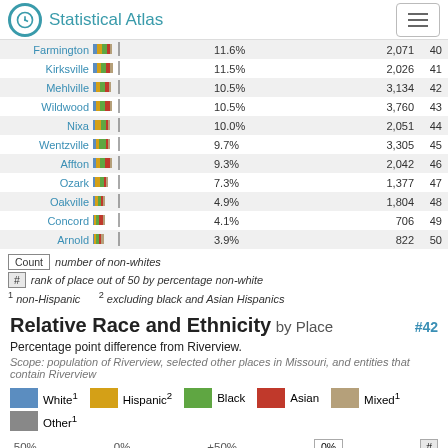Statistical Atlas
[Figure (stacked-bar-chart): Race and Ethnicity by Place (partial)]
Count  number of non-whites
#  rank of place out of 50 by percentage non-white
1 non-Hispanic   2 excluding black and Asian Hispanics
Relative Race and Ethnicity by Place #42
Percentage point difference from Riverview.
Scope: population of Riverview, selected other places in Missouri, and entities that contain Riverview
White1  Hispanic2  Black  Asian  Mixed1  Other1